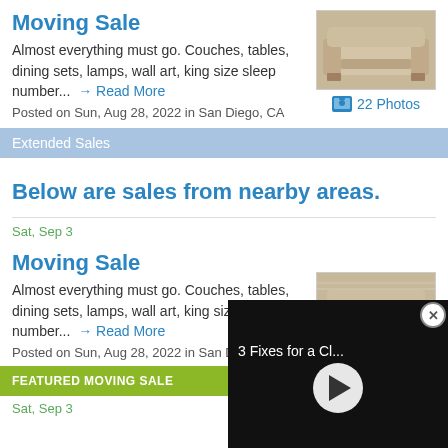Moving Sale
Almost everything must go. Couches, tables, dining sets, lamps, wall art, king size sleep number... → Read More
Posted on Sun, Aug 28, 2022 in San Diego, CA
[Figure (photo): Photo of a beige sofa/couch]
22 Photos
Extended Sales
Below are sales from nearby areas.
Sat, Sep 3
Moving Sale
Almost everything must go. Couches, tables, dining sets, lamps, wall art, king size sleep number... → Read More
Posted on Sun, Aug 28, 2022 in San Diego
[Figure (photo): Photo of a beige sofa in a room]
[Figure (screenshot): Video overlay with title '3 Fixes for a Cl...' and play button]
FEATURED MOVING SALE
Sat, Sep 3